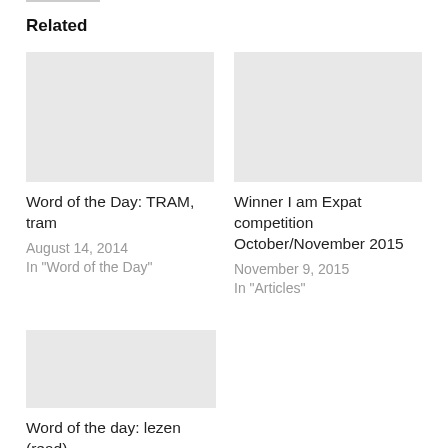Related
Word of the Day: TRAM, tram
August 14, 2014
In "Word of the Day"
Winner I am Expat competition October/November 2015
November 9, 2015
In "Articles"
Word of the day: lezen (read)
September 17, 2013
In "Word of the Day"